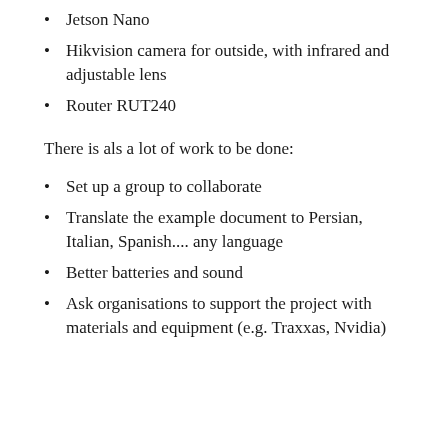Jetson Nano
Hikvision camera for outside, with infrared and adjustable lens
Router RUT240
There is als a lot of work to be done:
Set up a group to collaborate
Translate the example document to Persian, Italian, Spanish.... any language
Better batteries and sound
Ask organisations to support the project with materials and equipment (e.g. Traxxas, Nvidia)